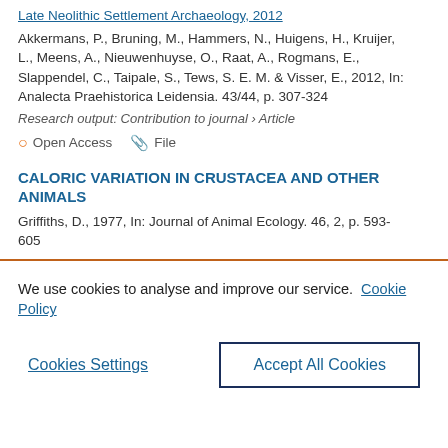Late Neolithic Settlement Archaeology, 2012
Akkermans, P., Bruning, M., Hammers, N., Huigens, H., Kruijer, L., Meens, A., Nieuwenhuyse, O., Raat, A., Rogmans, E., Slappendel, C., Taipale, S., Tews, S. E. M. & Visser, E., 2012, In: Analecta Praehistorica Leidensia. 43/44, p. 307-324
Research output: Contribution to journal › Article
Open Access   File
CALORIC VARIATION IN CRUSTACEA AND OTHER ANIMALS
Griffiths, D., 1977, In: Journal of Animal Ecology. 46, 2, p. 593-605
We use cookies to analyse and improve our service. Cookie Policy
Cookies Settings
Accept All Cookies